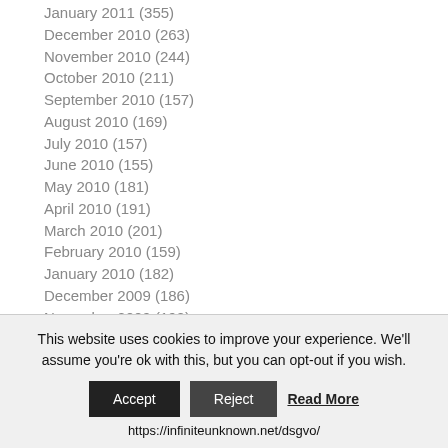January 2011 (355)
December 2010 (263)
November 2010 (244)
October 2010 (211)
September 2010 (157)
August 2010 (169)
July 2010 (157)
June 2010 (155)
May 2010 (181)
April 2010 (191)
March 2010 (201)
February 2010 (159)
January 2010 (182)
December 2009 (186)
November 2009 (192)
This website uses cookies to improve your experience. We'll assume you're ok with this, but you can opt-out if you wish.
https://infiniteunknown.net/dsgvo/